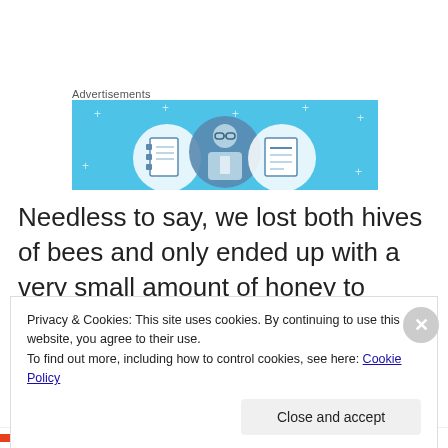Advertisements
[Figure (illustration): Blue advertisement banner with illustrated icons of notebooks and a person wearing glasses, on a light blue background with decorative plus signs]
Needless to say, we lost both hives of bees and only ended up with a very small amount of honey to harvest... another year of learning about all the things that can go
Privacy & Cookies: This site uses cookies. By continuing to use this website, you agree to their use.
To find out more, including how to control cookies, see here: Cookie Policy
Close and accept